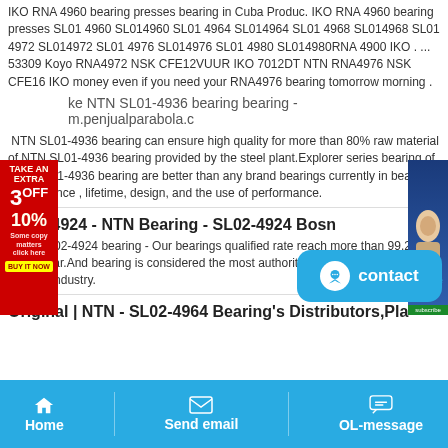IKO RNA 4960 bearing presses bearing in Cuba Produc. IKO RNA 4960 bearing presses SL01 4960 SL014960 SL01 4964 SL014964 SL01 4968 SL014968 SL01 4972 SL014972 SL01 4976 SL014976 SL01 4980 SL014980RNA 4900 IKO . ... 53309 Koyo RNA4972 NSK CFE12VUUR IKO 7012DT NTN RNA4976 NSK CFE16 IKO money even if you need your RNA4976 bearing tomorrow morning .
ke NTN SL01-4936 bearing bearing - m.penjualparabola.c
NTN SL01-4936 bearing can ensure high quality for more than 80% raw material of NTN SL01-4936 bearing provided by the steel plant.Explorer series bearing of NTN SL01-4936 bearing are better than any brand bearings currently in bearing performance , lifetime, design, and the use of performance.
SL02-4924 - NTN Bearing - SL02-4924 Bosn
NTN SL02-4924 bearing - Our bearings qualified rate reach more than 99.2% every year.And bearing is considered the most authoritative in the Chinese bearing industry.
Original | NTN - SL02-4964 Bearing's Distributors,Pla
Home   Send email   OL-message